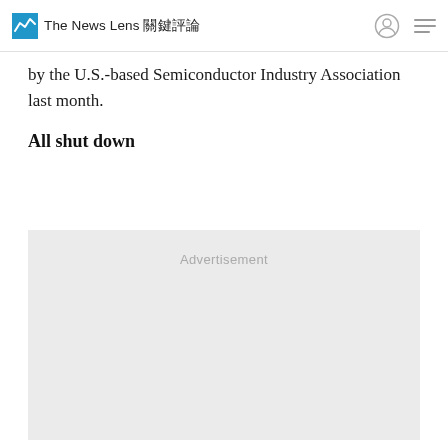The News Lens 關鍵評論
by the U.S.-based Semiconductor Industry Association last month.
All shut down
[Figure (other): Advertisement placeholder box with light gray background and 'Advertisement' label text centered near top]